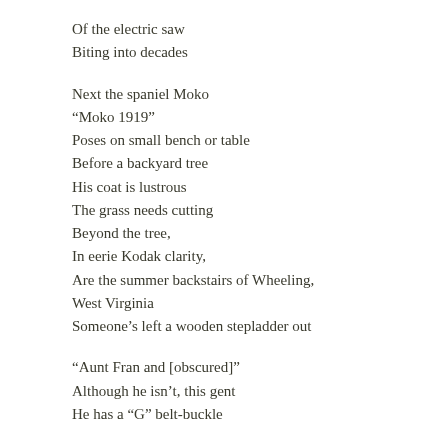Of the electric saw
Biting into decades

Next the spaniel Moko
“Moko 1919”
Poses on small bench or table
Before a backyard tree
His coat is lustrous
The grass needs cutting
Beyond the tree,
In eerie Kodak clarity,
Are the summer backstairs of Wheeling,
West Virginia
Someone’s left a wooden stepladder out

“Aunt Fran and [obscured]”
Although he isn’t, this gent
He has a “G” belt-buckle